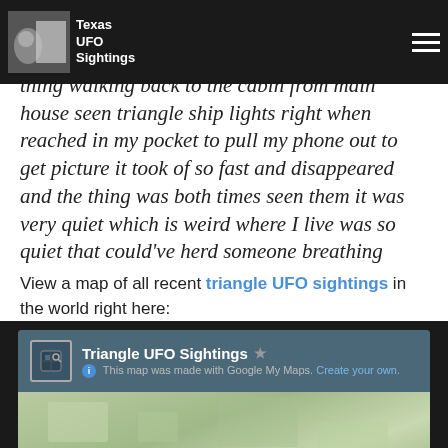Texas UFO Sightings
...thing walking back to the cabin from main house seen triangle ship lights right when reached in my pocket to pull my phone out to get picture it took of so fast and disappeared and the thing was both times seen them it was very quiet which is weird where I live was so quiet that could've herd someone breathing
View a map of all recent triangle UFO sightings in the world right here:
[Figure (screenshot): Screenshot of a Google My Maps embed titled 'Triangle UFO Sightings' with subtitle 'This map was made with Google My Maps. Create your own.' showing a partial map view below.]